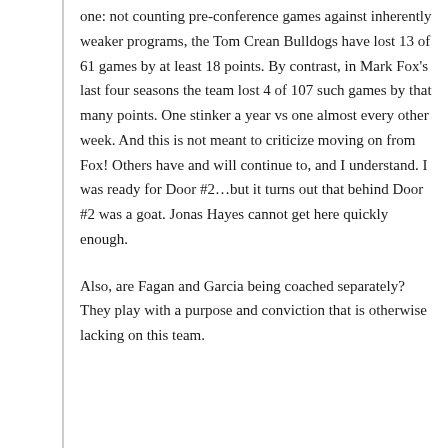one: not counting pre-conference games against inherently weaker programs, the Tom Crean Bulldogs have lost 13 of 61 games by at least 18 points. By contrast, in Mark Fox's last four seasons the team lost 4 of 107 such games by that many points. One stinker a year vs one almost every other week. And this is not meant to criticize moving on from Fox! Others have and will continue to, and I understand. I was ready for Door #2…but it turns out that behind Door #2 was a goat. Jonas Hayes cannot get here quickly enough.
Also, are Fagan and Garcia being coached separately? They play with a purpose and conviction that is otherwise lacking on this team.